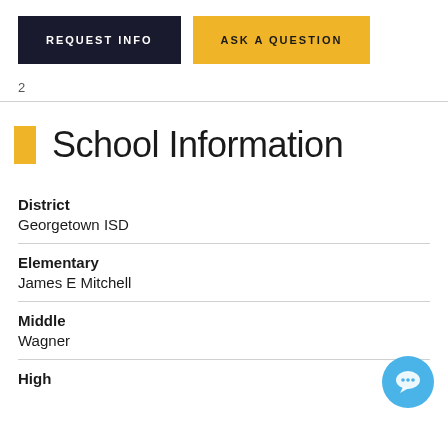[Figure (other): Two buttons: REQUEST INFO (dark background) and ASK A QUESTION (gold background)]
2
School Information
District
Georgetown ISD
Elementary
James E Mitchell
Middle
Wagner
High